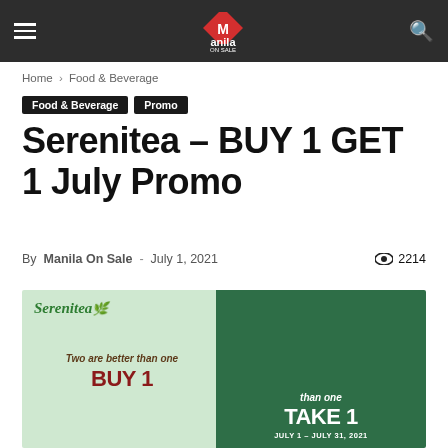Manila On Sale
Home › Food & Beverage
Food & Beverage  Promo
Serenitea – BUY 1 GET 1 July Promo
By Manila On Sale - July 1, 2021   2214
[Figure (photo): Serenitea promotional banner showing 'Two are better than one BUY 1 TAKE 1 JULY 1 – JULY 31, 2021' with split light green and dark green background.]